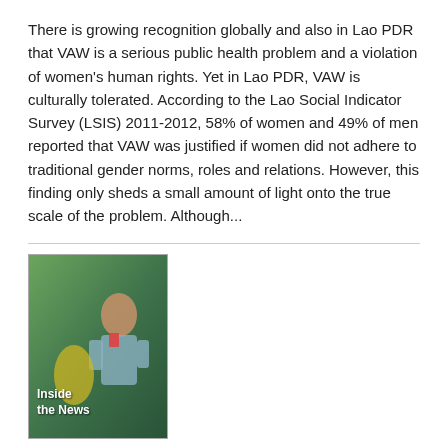There is growing recognition globally and also in Lao PDR that VAW is a serious public health problem and a violation of women's human rights. Yet in Lao PDR, VAW is culturally tolerated. According to the Lao Social Indicator Survey (LSIS) 2011-2012, 58% of women and 49% of men reported that VAW was justified if women did not adhere to traditional gender norms, roles and relations. However, this finding only sheds a small amount of light onto the true scale of the problem. Although...
[Figure (photo): Book cover of 'Inside the News: Challenges and Aspirations of Women Journalists in Asia and the Pacific' showing a woman journalist]
Inside the News: Challenges and Aspirations of Women Journalists in Asia and the Pacific
Date: Monday, 22 June 2015
Women's representation in newsrooms in many countries across the Asia and the Pacific region has been slowly but surely improving over the years. However, media in the region continue to be male-dominated, especially towards the top of organizational